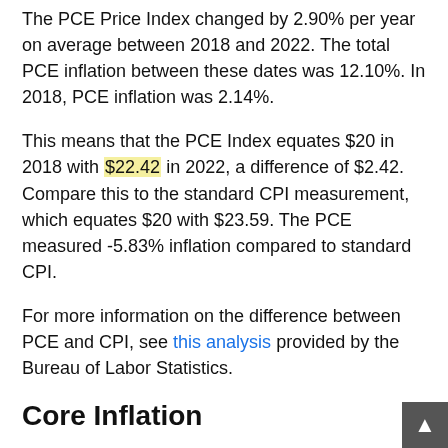The PCE Price Index changed by 2.90% per year on average between 2018 and 2022. The total PCE inflation between these dates was 12.10%. In 2018, PCE inflation was 2.14%.
This means that the PCE Index equates $20 in 2018 with $22.42 in 2022, a difference of $2.42. Compare this to the standard CPI measurement, which equates $20 with $23.59. The PCE measured -5.83% inflation compared to standard CPI.
For more information on the difference between PCE and CPI, see this analysis provided by the Bureau of Labor Statistics.
Core Inflation
Also of note is the Core CPI, which uses the standard CPI but omits the more volatile categories of food and energy.